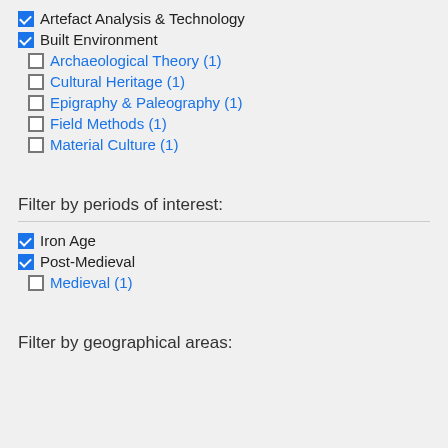☑ Artefact Analysis & Technology
☑ Built Environment
☐ Archaeological Theory (1)
☐ Cultural Heritage (1)
☐ Epigraphy & Paleography (1)
☐ Field Methods (1)
☐ Material Culture (1)
Filter by periods of interest:
☑ Iron Age
☑ Post-Medieval
☐ Medieval (1)
Filter by geographical areas: